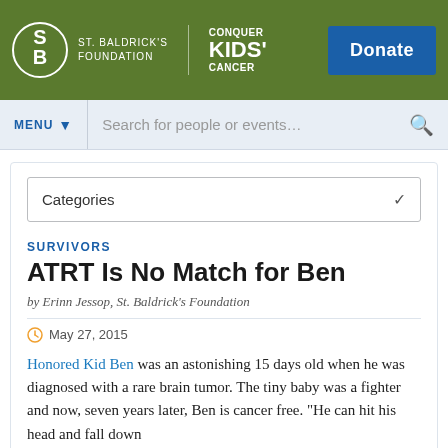[Figure (logo): St. Baldrick's Foundation logo with 'Conquer Kids' Cancer' tagline and green header bar with blue Donate button]
MENU  Search for people or events...
Categories
SURVIVORS
ATRT Is No Match for Ben
by Erinn Jessop, St. Baldrick's Foundation
May 27, 2015
Honored Kid Ben was an astonishing 15 days old when he was diagnosed with a rare brain tumor. The tiny baby was a fighter and now, seven years later, Ben is cancer free. "He can hit his head and fall down